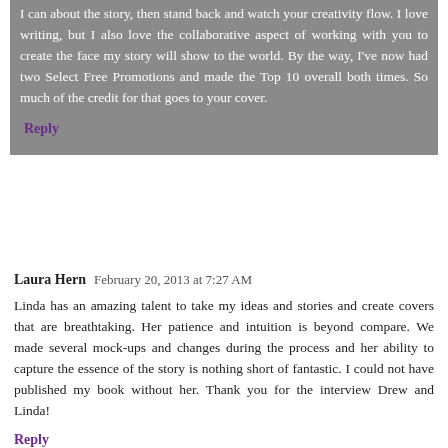I can about the story, then stand back and watch your creativity flow. I love writing, but I also love the collaborative aspect of working with you to create the face my story will show to the world. By the way, I've now had two Select Free Promotions and made the Top 10 overall both times. So much of the credit for that goes to your cover.
Reply
Laura Hern  February 20, 2013 at 7:27 AM
Linda has an amazing talent to take my ideas and stories and create covers that are breathtaking. Her patience and intuition is beyond compare. We made several mock-ups and changes during the process and her ability to capture the essence of the story is nothing short of fantastic. I could not have published my book without her. Thank you for the interview Drew and Linda!
Reply